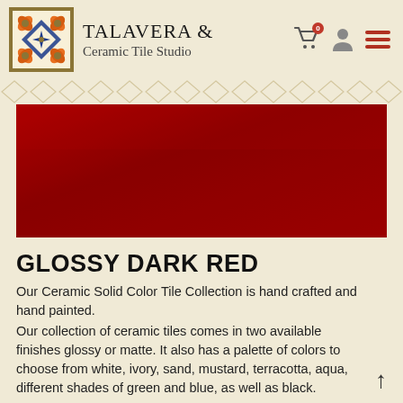TALAVERA & Ceramic Tile Studio
[Figure (illustration): Talavera decorative tile logo with orange and blue symmetrical floral/geometric pattern on cream background with gold border]
[Figure (photo): Dark red glossy ceramic tile swatch — a large horizontal rectangle showing a deep crimson / dark red solid color glazed ceramic tile surface]
GLOSSY DARK RED
Our Ceramic Solid Color Tile Collection is hand crafted and hand painted.
Our collection of ceramic tiles comes in two available finishes glossy or matte. It also has a palette of colors to choose from white, ivory, sand, mustard, terracotta, aqua, different shades of green and blue, as well as black.